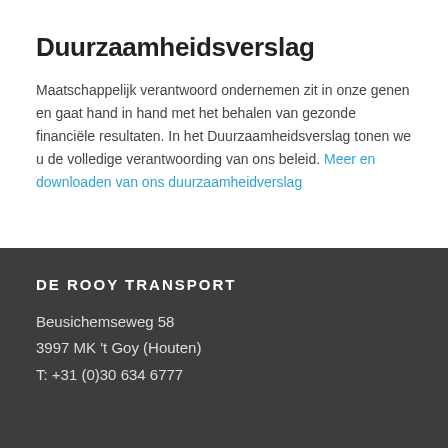Duurzaamheidsverslag
Maatschappelijk verantwoord ondernemen zit in onze genen en gaat hand in hand met het behalen van gezonde financiële resultaten. In het Duurzaamheidsverslag tonen we u de volledige verantwoording van ons beleid. Meer en downloaden van ons duurzaamheidverslag
DE ROOY TRANSPORT
Beusichemseweg 58
3997 MK 't Goy (Houten)
T: +31 (0)30 634 6777